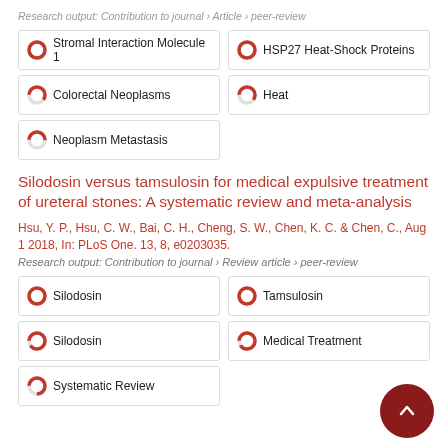Research output: Contribution to journal › Article › peer-review
[Figure (infographic): Five keyword/topic badges with donut-style progress indicators: Stromal Interaction Molecule 1 (100%), HSP27 Heat-Shock Proteins (100%), Colorectal Neoplasms (~60%), Heat (~60%), Neoplasm Metastasis (~50%)]
Silodosin versus tamsulosin for medical expulsive treatment of ureteral stones: A systematic review and meta-analysis
Hsu, Y. P., Hsu, C. W., Bai, C. H., Cheng, S. W., Chen, K. C. & Chen, C., Aug 1 2018, In: PLoS One. 13, 8, e0203035.
Research output: Contribution to journal › Review article › peer-review
[Figure (infographic): Five keyword/topic badges with donut-style progress indicators: Silodosin (100%), Tamsulosin (100%), Silodosin (90%), Medical Treatment (90%), Systematic Review (75%)]